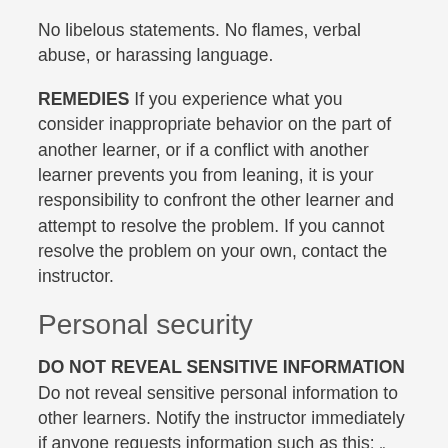No libelous statements. No flames, verbal abuse, or harassing language.
REMEDIES If you experience what you consider inappropriate behavior on the part of another learner, or if a conflict with another learner prevents you from leaning, it is your responsibility to confront the other learner and attempt to resolve the problem. If you cannot resolve the problem on your own, contact the instructor.
Personal security
DO NOT REVEAL SENSITIVE INFORMATION Do not reveal sensitive personal information to other learners. Notify the instructor immediately if anyone requests information such as this: „ Home address „ Phone number „ Government ID numbers Social Security Number (or equivalent) Driver's license number „ Credit card